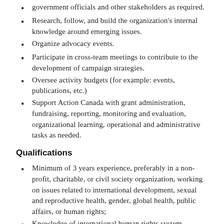government officials and other stakeholders as required.
Research, follow, and build the organization's internal knowledge around emerging issues.
Organize advocacy events.
Participate in cross-team meetings to contribute to the development of campaign strategies.
Oversee activity budgets (for example: events, publications, etc.)
Support Action Canada with grant administration, fundraising, reporting, monitoring and evaluation, organizational learning, operational and administrative tasks as needed.
Qualifications
Minimum of 3 years experience, preferably in a non-profit, charitable, or civil society organization, working on issues related to international development, sexual and reproductive health, gender, global health, public affairs, or human rights;
Knowledge of international human rights system,